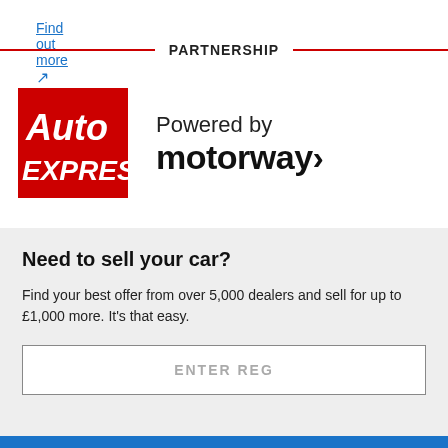Find out more ↗
PARTNERSHIP
[Figure (logo): Auto Express logo (red background with bold white italic text 'Auto EXPRESS') alongside 'Powered by motorway>' branding]
Need to sell your car?
Find your best offer from over 5,000 dealers and sell for up to £1,000 more. It's that easy.
ENTER REG